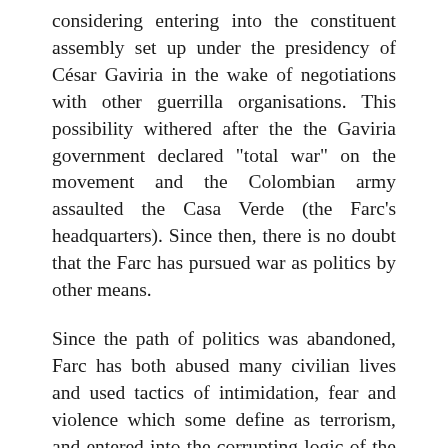considering entering into the constituent assembly set up under the presidency of César Gaviria in the wake of negotiations with other guerrilla organisations. This possibility withered after the the Gaviria government declared "total war" on the movement and the Colombian army assaulted the Casa Verde (the Farc's headquarters). Since then, there is no doubt that the Farc has pursued war as politics by other means.
Since the path of politics was abandoned, Farc has both abused many civilian lives and used tactics of intimidation, fear and violence which some define as terrorism, and entered into the corrupting logic of the drugs trade, multiple forms of extortion and the anti-human tactic of kidnapping. For all this, the Farc is an enemy of peace and democracy in Colombia.
Its political ideas, meanwhile, have very little credibility for most Colombians - though they do exist. The Farc